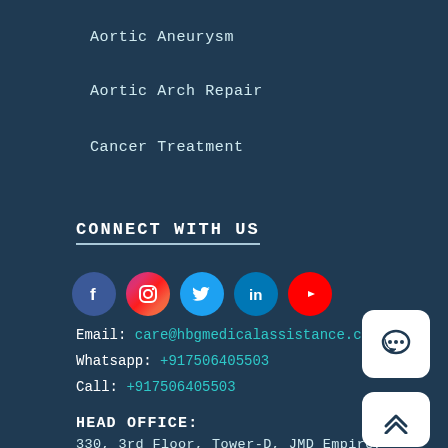Aortic Aneurysm
Aortic Arch Repair
Cancer Treatment
CONNECT WITH US
[Figure (illustration): Row of five social media icons: Facebook (dark blue circle), Instagram (gradient pink/orange circle), Twitter (cyan circle), LinkedIn (blue circle), YouTube (red circle)]
Email: care@hbgmedicalassistance.com
Whatsapp: +917506405503
Call: +917506405503
HEAD OFFICE:
330, 3rd Floor, Tower-D, JMD Empire, Sector-62,